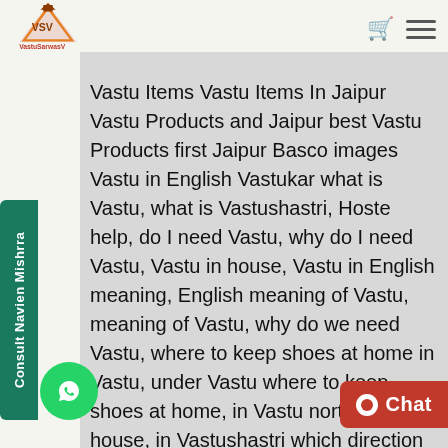[Figure (logo): VastuSarwasV logo - orange and brown triangular logo with VSV letters]
Vastu Items Vastu Items In Jaipur Vastu Products and Jaipur best Vastu Products first Jaipur Basco images Vastu in English Vastukar what is Vastu, what is Vastushastri, Hoste help, do I need Vastu, why do I need Vastu, Vastu in house, Vastu in English meaning, English meaning of Vastu, meaning of Vastu, why do we need Vastu, where to keep shoes at home in Vastu, under Vastu where to keep shoes at home, in Vastu north facing house, in Vastushastri which direction of toilet, in Vastushastri, and Vastushastri which direction of sleep, and Vastushastri which color of bedroom, In Vastushastri main ance, in Vastushastri which color bhaskar ish, Javed, Vastu job, Raj Gujar Mahndra, Vastu Geo, Vastu Jyothi, Vastu
Consult Navien Mishrra